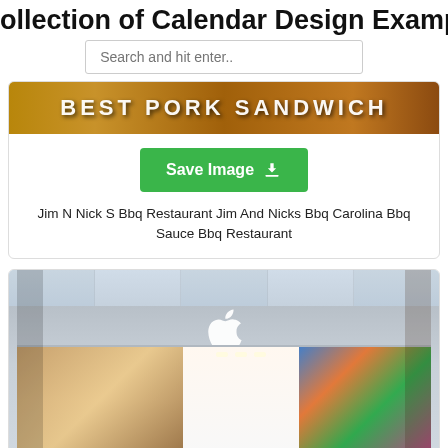ollection of Calendar Design Exampl
Search and hit enter..
[Figure (photo): Partial image showing text 'BEST PORK SANDWICH' in bold white letters on a food background]
Save Image
Jim N Nick S Bbq Restaurant Jim And Nicks Bbq Carolina Bbq Sauce Bbq Restaurant
[Figure (photo): Exterior photo of an Apple Store in a mall, showing the glass facade, Apple logo, orange architectural accents, and interior displays visible through the glass]
Save Image